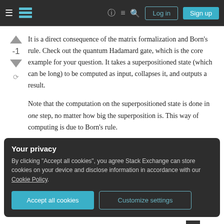Stack Exchange navigation bar with Log in and Sign up buttons
It is a direct consequence of the matrix formalization and Born's rule. Check out the quantum Hadamard gate, which is the core example for your question. It takes a superpositioned state (which can be long) to be computed as input, collapses it, and outputs a result.
Note that the computation on the superpositioned state is done in one step, no matter how big the superposition is. This way of computing is due to Born's rule.
Your privacy
By clicking "Accept all cookies", you agree Stack Exchange can store cookies on your device and disclose information in accordance with our Cookie Policy.
Improve this answer   Keng